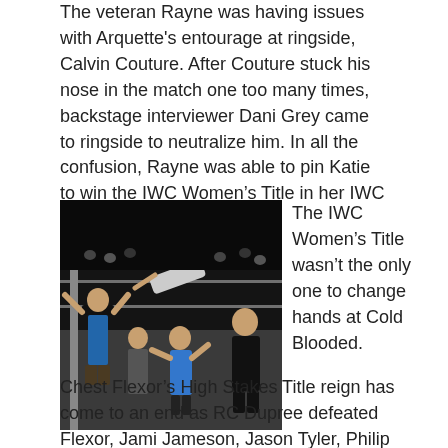The veteran Rayne was having issues with Arquette's entourage at ringside, Calvin Couture. After Couture stuck his nose in the match one too many times, backstage interviewer Dani Grey came to ringside to neutralize him. In all the confusion, Rayne was able to pin Katie to win the IWC Women's Title in her IWC debut!
[Figure (photo): Wrestling match photo showing multiple wrestlers in a ring, with one wrestler being held up by another, referees and others visible, taken at IWC Cold Blooded event.]
The IWC Women's Title wasn't the only one to change hands at Cold Blooded. Chest Flexor's High Stakes Title reign has come to an end as RC Dupree defeated Flexor, Jami Jameson, Jason Tyler, Philip Archer, and Stevie Lebell in a six-way.